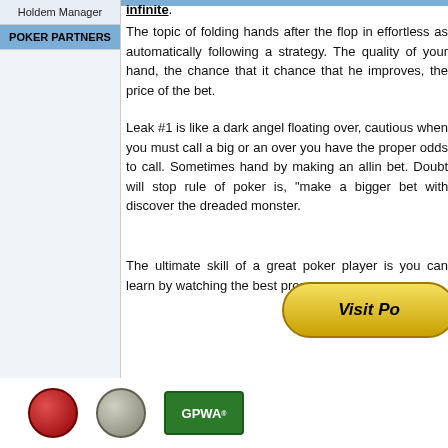Holdem Manager
POKER PARTNERS
The topic of folding hands after the flop is effortless as automatically following a strategy. The quality of your hand, the chance that it improves, chance that he improves, the price of the b...
Leak #1 is like a dark angel floating over, cautious when you must call a big or an o... you have the proper odds to call. Someti... hand by making an allin bet. Doubt will s... rule of poker is, "make a bigger bet wit... discover the dreaded monster.
The ultimate skill of a great poker player i... you can learn by watching the best pros a...
[Figure (illustration): Yellow gradient oval/pill-shaped button labeled 'Visit Po...' (Visit Poker, partially visible), rendered with gold/yellow gradient and dark border]
[Figure (logo): Bottom row of logos: red circular logo, gray/silver circular logo, green rectangular GPWA logo]